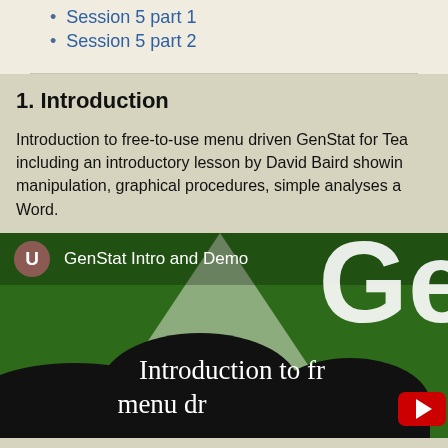Session 5 part 1
Session 5 part 2
1. Introduction
Introduction to free-to-use menu driven GenStat for Tea including an introductory lesson by David Baird showing manipulation, graphical procedures, simple analyses a Word.
[Figure (screenshot): Video thumbnail showing 'GenStat Intro and Demo' with a user avatar labeled U, large 'Ge' text on green background, silhouette of audience at bottom, and text 'Introduction to fr... menu dr...' with YouTube play button]